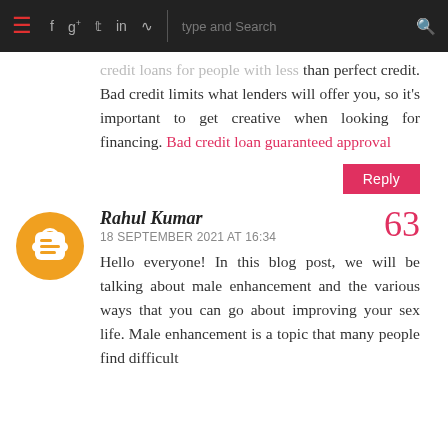Navigation bar with hamburger menu, social icons (f, g+, twitter, in, rss), search field
credit loans for people with less than perfect credit. Bad credit limits what lenders will offer you, so it's important to get creative when looking for financing. Bad credit loan guaranteed approval
Reply
Rahul Kumar
18 SEPTEMBER 2021 AT 16:34
63
Hello everyone! In this blog post, we will be talking about male enhancement and the various ways that you can go about improving your sex life. Male enhancement is a topic that many people find difficult